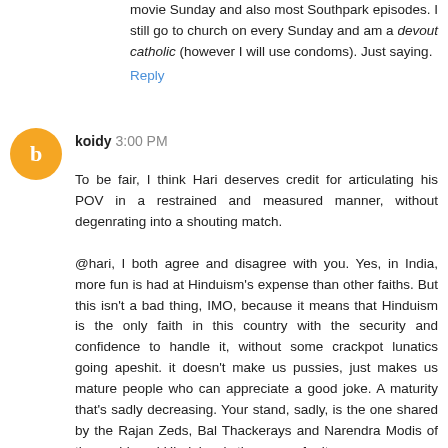movie Sunday and also most Southpark episodes. I still go to church on every Sunday and am a devout catholic (however I will use condoms). Just saying.
Reply
koidy 3:00 PM
To be fair, I think Hari deserves credit for articulating his POV in a restrained and measured manner, without degenrating into a shouting match.

@hari, I both agree and disagree with you. Yes, in India, more fun is had at Hinduism's expense than other faiths. But this isn't a bad thing, IMO, because it means that Hinduism is the only faith in this country with the security and confidence to handle it, without some crackpot lunatics going apeshit. it doesn't make us pussies, just makes us mature people who can appreciate a good joke. A maturity that's sadly decreasing. Your stand, sadly, is the one shared by the Rajan Zeds, Bal Thackerays and Narendra Modis of the world, and Hinduism is the poorer for it.